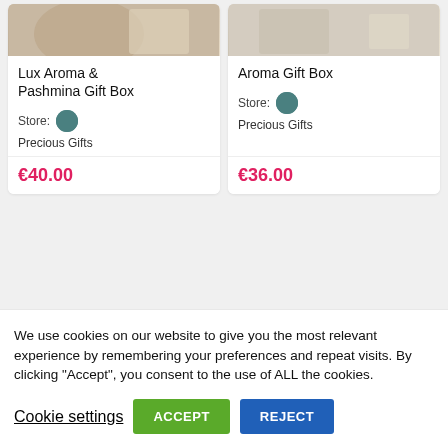[Figure (photo): Product image for Lux Aroma & Pashmina Gift Box (top clipped)]
Lux Aroma & Pashmina Gift Box
Store: Precious Gifts
€40.00
[Figure (photo): Product image for Aroma Gift Box (top clipped)]
Aroma Gift Box
Store: Precious Gifts
€36.00
We use cookies on our website to give you the most relevant experience by remembering your preferences and repeat visits. By clicking “Accept”, you consent to the use of ALL the cookies.
Cookie settings   ACCEPT   REJECT